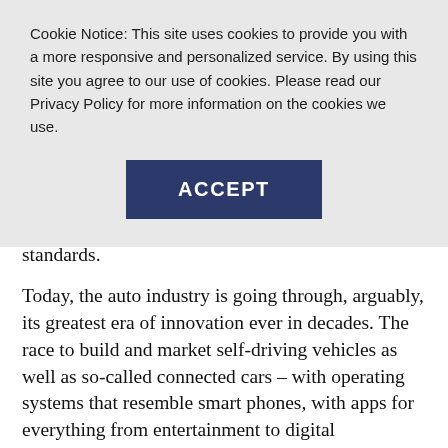Cookie Notice: This site uses cookies to provide you with a more responsive and personalized service. By using this site you agree to our use of cookies. Please read our Privacy Policy for more information on the cookies we use.
[Figure (other): ACCEPT button — a dark navy blue rectangular button with white bold text reading ACCEPT]
Tesla fought a legendary battle over electricity standards.
Today, the auto industry is going through, arguably, its greatest era of innovation ever in decades. The race to build and market self-driving vehicles as well as so-called connected cars – with operating systems that resemble smart phones, with apps for everything from entertainment to digital diagnostics – has lured technology giants such as Google and Apple, as well as Elon Musk's Tesla into the automotive business.
This means a time of both promise and peril for auto